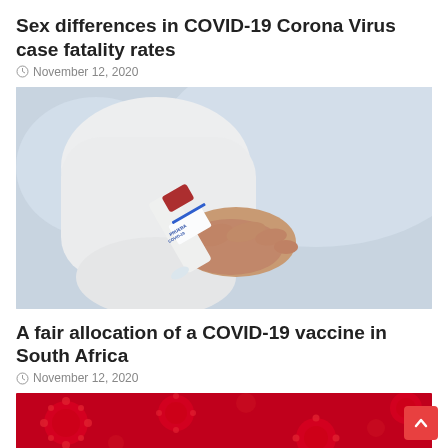Sex differences in COVID-19 Corona Virus case fatality rates
November 12, 2020
[Figure (photo): A hand in a white lab coat sleeve holding a COVID-19 test tube labeled 'PRUEBA COVID-19']
A fair allocation of a COVID-19 vaccine in South Africa
November 12, 2020
[Figure (photo): Close-up image of red COVID-19 coronavirus particles/molecules on a red background]